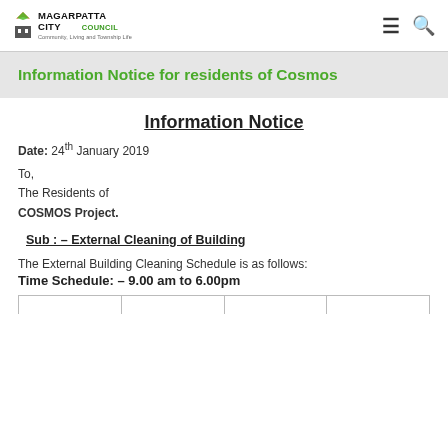MAGARPATTA CITY COUNCIL Community, Living and Township Life
Information Notice for residents of Cosmos
Information Notice
Date: 24th January 2019
To,
The Residents of
COSMOS Project.
Sub : – External Cleaning of Building
The External Building Cleaning Schedule is as follows:
Time Schedule: – 9.00 am to 6.00pm